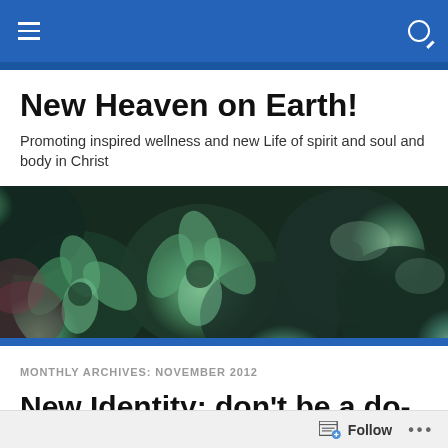Navigation bar with hamburger menu and search icon
New Heaven on Earth!
Promoting inspired wellness and new Life of spirit and soul and body in Christ
[Figure (photo): Close-up photograph of green succulent plants filling the frame]
MONTHLY ARCHIVES: NOVEMBER 2012
New Identity: don't be a do-be, be a be-do!
Follow ...